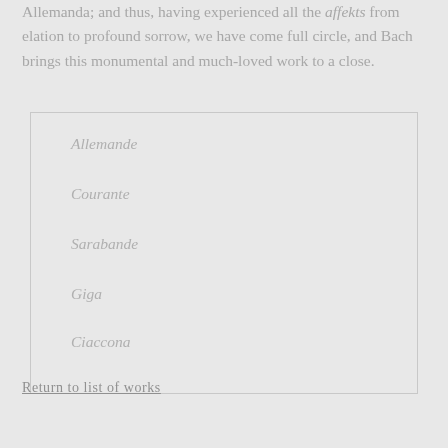Allemanda; and thus, having experienced all the affekts from elation to profound sorrow, we have come full circle, and Bach brings this monumental and much-loved work to a close.
Allemande
Courante
Sarabande
Giga
Ciaccona
Return to list of works